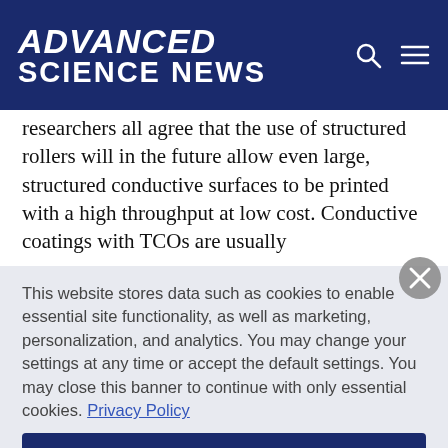ADVANCED SCIENCE NEWS
researchers all agree that the use of structured rollers will in the future allow even large, structured conductive surfaces to be printed with a high throughput at low cost. Conductive coatings with TCOs are usually
This website stores data such as cookies to enable essential site functionality, as well as marketing, personalization, and analytics. You may change your settings at any time or accept the default settings. You may close this banner to continue with only essential cookies. Privacy Policy
Manage Preferences
Accept All
Reject All